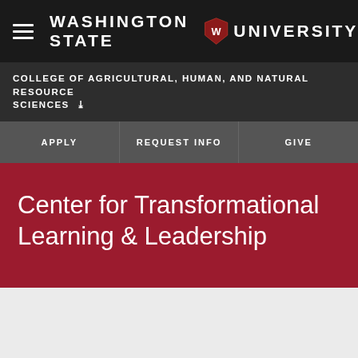Washington State University
COLLEGE OF AGRICULTURAL, HUMAN, AND NATURAL RESOURCE SCIENCES
APPLY   REQUEST INFO   GIVE
Center for Transformational Learning & Leadership